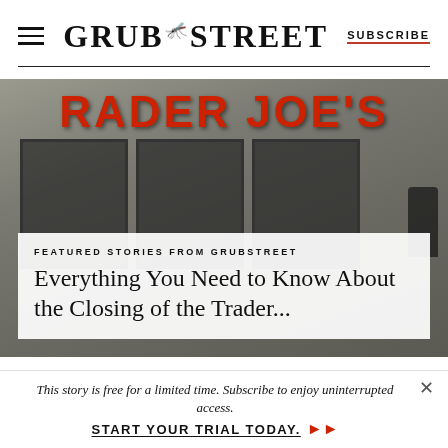GRUB STREET | SUBSCRIBE
[Figure (photo): Exterior photo of a Trader Joe's store building with stone facade and red lettering sign reading 'TRADER JOE'S', with pedestrians visible at street level]
FEATURED STORIES FROM GRUBSTREET
Everything You Need to Know About the Closing of the Trader...
This story is free for a limited time. Subscribe to enjoy uninterrupted access. START YOUR TRIAL TODAY.